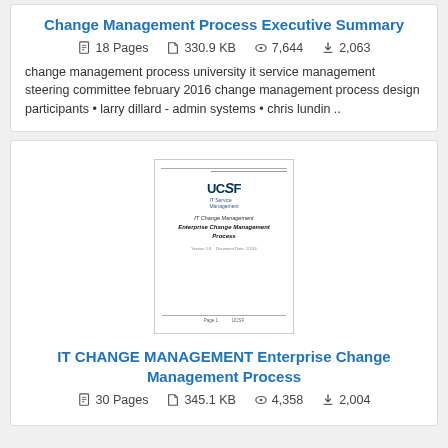Change Management Process Executive Summary
18 Pages  330.9 KB  7,644  2,063
change management process university it service management steering committee february 2016 change management process design participants • larry dillard - admin systems • chris lundin ..
[Figure (screenshot): Thumbnail image of UCSF IT Service Management Enterprise Change Management Process document cover page]
IT CHANGE MANAGEMENT Enterprise Change Management Process
30 Pages  345.1 KB  4,358  2,004